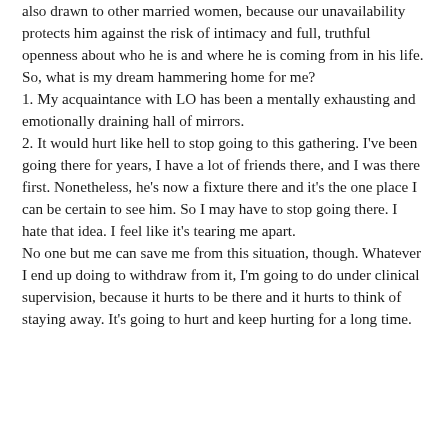also drawn to other married women, because our unavailability protects him against the risk of intimacy and full, truthful openness about who he is and where he is coming from in his life. So, what is my dream hammering home for me? 1. My acquaintance with LO has been a mentally exhausting and emotionally draining hall of mirrors. 2. It would hurt like hell to stop going to this gathering. I've been going there for years, I have a lot of friends there, and I was there first. Nonetheless, he's now a fixture there and it's the one place I can be certain to see him. So I may have to stop going there. I hate that idea. I feel like it's tearing me apart. No one but me can save me from this situation, though. Whatever I end up doing to withdraw from it, I'm going to do under clinical supervision, because it hurts to be there and it hurts to think of staying away. It's going to hurt and keep hurting for a long time.